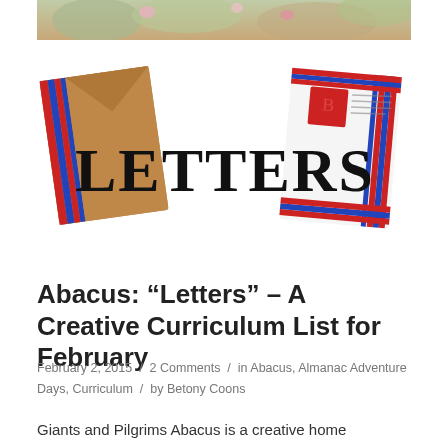[Figure (photo): Top portion of a photo showing outdoor scene with flowers and foliage, cropped at top of page]
[Figure (illustration): Decorative image showing airmail envelopes/letters with the word LETTERS in stylized typography in the center]
Abacus: “Letters” – A Creative Curriculum List for February
February 2, 2015 / 2 Comments / in Abacus, Almanac Adventure Days, Curriculum / by Betony Coons
Giants and Pilgrims Abacus is a creative home